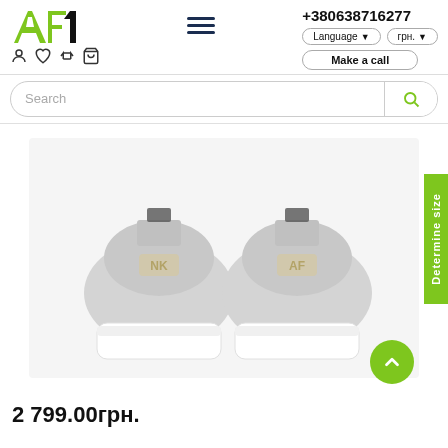[Figure (logo): AF1 store logo with green stylized letters AF and black numeral 1]
+380638716277
Language ▼   грн. ▼   Make a call
[Figure (screenshot): Search bar with magnifying glass icon]
[Figure (photo): Two Nike Air Force 1 sneakers shown from the back, light grey color with white soles, gold NK and AF logos on the heel tabs]
2 799.00грн.